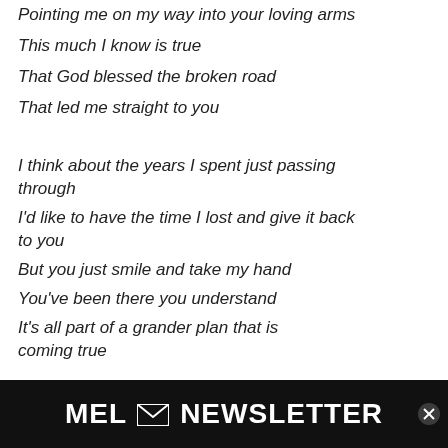Pointing me on my way into your loving arms
This much I know is true
That God blessed the broken road
That led me straight to you
I think about the years I spent just passing through
I'd like to have the time I lost and give it back to you
But you just smile and take my hand
You've been there you understand
It's all part of a grander plan that is coming true
[Figure (other): MEL Newsletter advertisement banner with envelope icon and close button]